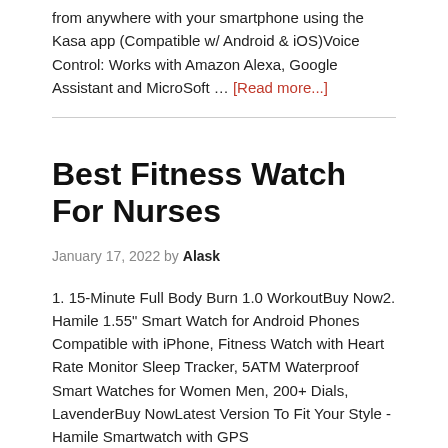from anywhere with your smartphone using the Kasa app (Compatible w/ Android & iOS)Voice Control: Works with Amazon Alexa, Google Assistant and MicroSoft … [Read more...]
Best Fitness Watch For Nurses
January 17, 2022 by Alask
1. 15-Minute Full Body Burn 1.0 WorkoutBuy Now2. Hamile 1.55" Smart Watch for Android Phones Compatible with iPhone, Fitness Watch with Heart Rate Monitor Sleep Tracker, 5ATM Waterproof Smart Watches for Women Men, 200+ Dials, LavenderBuy NowLatest Version To Fit Your Style - Hamile Smartwatch with GPS